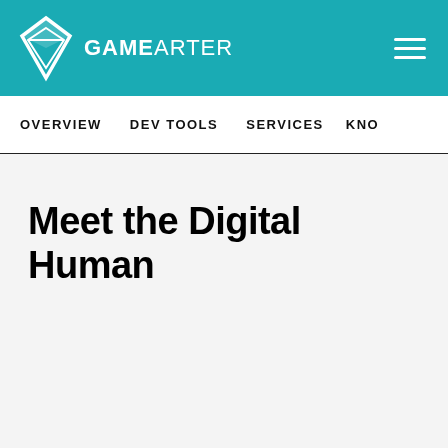GAMEARTER
OVERVIEW   DEV TOOLS   SERVICES   KNO
Meet the Digital Human